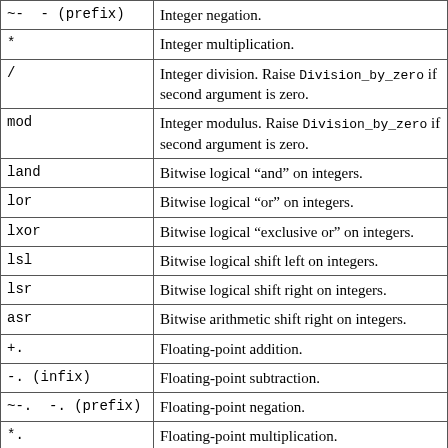| Operator | Description |
| --- | --- |
| ~-  - (prefix) | Integer negation. |
| * | Integer multiplication. |
| / | Integer division. Raise Division_by_zero if second argument is zero. |
| mod | Integer modulus. Raise Division_by_zero if second argument is zero. |
| land | Bitwise logical “and” on integers. |
| lor | Bitwise logical “or” on integers. |
| lxor | Bitwise logical “exclusive or” on integers. |
| lsl | Bitwise logical shift left on integers. |
| lsr | Bitwise logical shift right on integers. |
| asr | Bitwise arithmetic shift right on integers. |
| +. | Floating-point addition. |
| -. (infix) | Floating-point subtraction. |
| ~-.  -. (prefix) | Floating-point negation. |
| *. | Floating-point multiplication. |
| /. | Floating-point division. |
| ** | Floating-point exponentiation. |